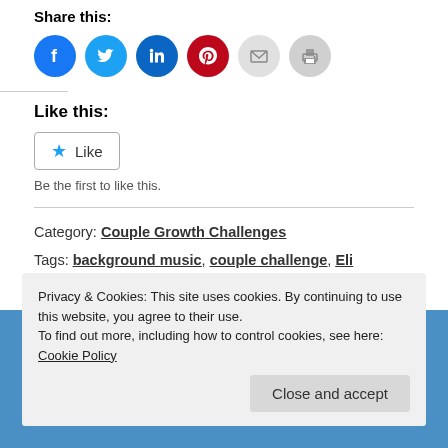Share this:
[Figure (infographic): Six social share icon buttons: Facebook (blue), Twitter (cyan), LinkedIn (dark teal), Pinterest (red), Email (light gray), Print (light gray)]
Like this:
[Figure (infographic): Like button with blue star icon and 'Like' text]
Be the first to like this.
Category: Couple Growth Challenges
Tags: background music, couple challenge, Eli Wallach, emotions, Jack Black, Jaws, Kate Winslet, love song, movies,
Privacy & Cookies: This site uses cookies. By continuing to use this website, you agree to their use. To find out more, including how to control cookies, see here: Cookie Policy
Close and accept